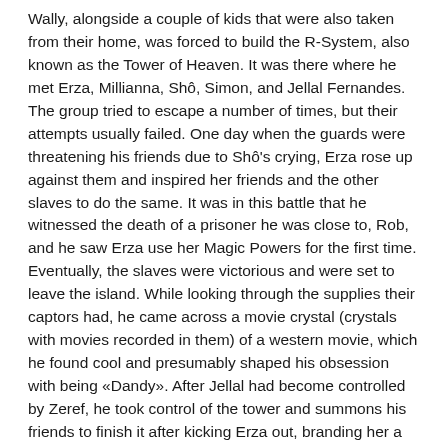Wally, alongside a couple of kids that were also taken from their home, was forced to build the R-System, also known as the Tower of Heaven. It was there where he met Erza, Millianna, Shô, Simon, and Jellal Fernandes. The group tried to escape a number of times, but their attempts usually failed. One day when the guards were threatening his friends due to Shô's crying, Erza rose up against them and inspired her friends and the other slaves to do the same. It was in this battle that he witnessed the death of a prisoner he was close to, Rob, and he saw Erza use her Magic Powers for the first time. Eventually, the slaves were victorious and were set to leave the island. While looking through the supplies their captors had, he came across a movie crystal (crystals with movies recorded in them) of a western movie, which he found cool and presumably shaped his obsession with being «Dandy». After Jellal had become controlled by Zeref, he took control of the tower and summons his friends to finish it after kicking Erza out, branding her a traitor when she refuses to go along with Jellal's wishes. He framed her by blowing up the ship the slaves intended to use to escape and then blaming it on her. Jellal was then able to convince Millianna, Shô, and Simon to continue to help in completing